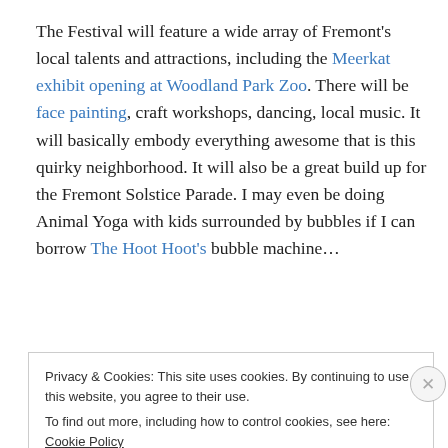The Festival will feature a wide array of Fremont's local talents and attractions, including the Meerkat exhibit opening at Woodland Park Zoo. There will be face painting, craft workshops, dancing, local music. It will basically embody everything awesome that is this quirky neighborhood. It will also be a great build up for the Fremont Solstice Parade. I may even be doing Animal Yoga with kids surrounded by bubbles if I can borrow The Hoot Hoot's bubble machine…
Privacy & Cookies: This site uses cookies. By continuing to use this website, you agree to their use. To find out more, including how to control cookies, see here: Cookie Policy